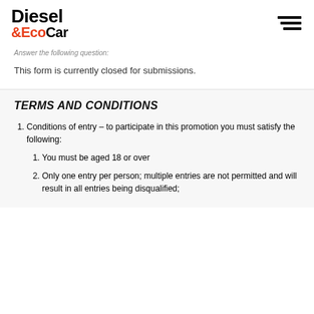Diesel & EcoCar
Answer the following question:
This form is currently closed for submissions.
TERMS AND CONDITIONS
Conditions of entry – to participate in this promotion you must satisfy the following:
You must be aged 18 or over
Only one entry per person; multiple entries are not permitted and will result in all entries being disqualified;